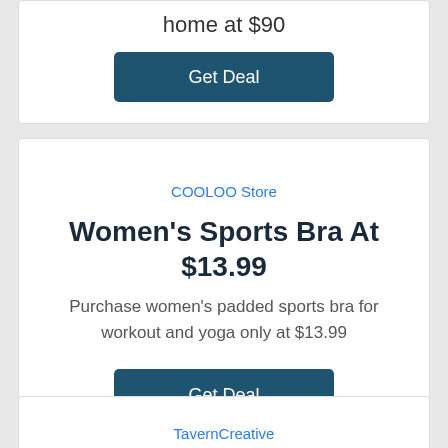home at $90
Get Deal
COOLOO Store
Women's Sports Bra At $13.99
Purchase women's padded sports bra for workout and yoga only at $13.99
Get Deal
TavernCreative